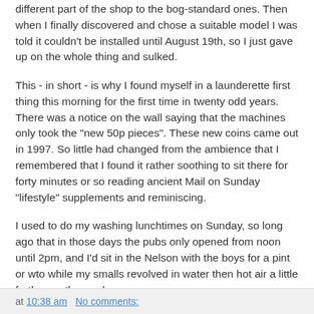different part of the shop to the bog-standard ones. Then when I finally discovered and chose a suitable model I was told it couldn't be installed until August 19th, so I just gave up on the whole thing and sulked.
This - in short - is why I found myself in a launderette first thing this morning for the first time in twenty odd years. There was a notice on the wall saying that the machines only took the "new 50p pieces". These new coins came out in 1997. So little had changed from the ambience that I remembered that I found it rather soothing to sit there for forty minutes or so reading ancient Mail on Sunday "lifestyle" supplements and reminiscing.
I used to do my washing lunchtimes on Sunday, so long ago that in those days the pubs only opened from noon until 2pm, and I'd sit in the Nelson with the boys for a pint or wto while my smalls revolved in water then hot air a little further up the road.
at 10:38 am   No comments: